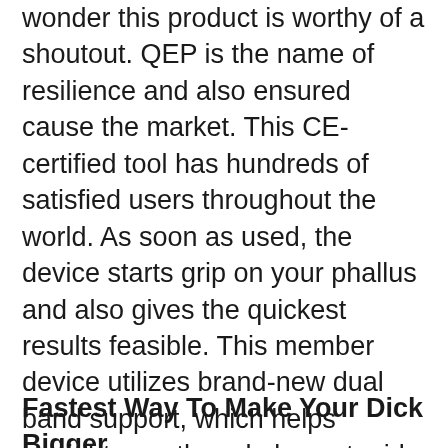wonder this product is worthy of a shoutout. QEP is the name of resilience and also ensured cause the market. This CE-certified tool has hundreds of satisfied users throughout the world. As soon as used, the device starts grip on your phallus and also gives the quickest results feasible. This member device utilizes brand-new dual band support, which helps straight growth and also gets rid of any chances of slippage. The prime objective of QEP is the comfort of the customer, as our penis is not utilized to wear gadgets over it. It is very easy to wear as well as causes no discomfort or allergy while wearing given that discomfort and discomfort can make a user stop using it.
Fastest Way To Make Your Dick Bigger